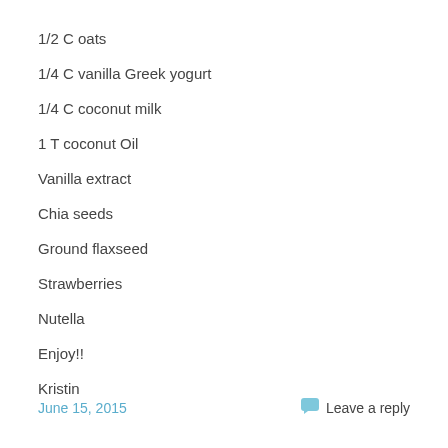1/2 C oats
1/4 C vanilla Greek yogurt
1/4 C coconut milk
1 T coconut Oil
Vanilla extract
Chia seeds
Ground flaxseed
Strawberries
Nutella
Enjoy!!
Kristin
June 15, 2015   Leave a reply